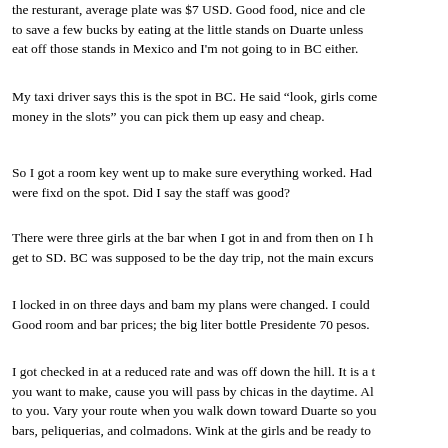the resturant, average plate was $7 USD. Good food, nice and cle to save a few bucks by eating at the little stands on Duarte unless eat off those stands in Mexico and I'm not going to in BC either.
My taxi driver says this is the spot in BC. He said "look, girls come money in the slots" you can pick them up easy and cheap.
So I got a room key went up to make sure everything worked. Had were fixd on the spot. Did I say the staff was good?
There were three girls at the bar when I got in and from then on I h get to SD. BC was supposed to be the day trip, not the main excurs
I locked in on three days and bam my plans were changed. I could Good room and bar prices; the big liter bottle Presidente 70 pesos.
I got checked in at a reduced rate and was off down the hill. It is a t you want to make, cause you will pass by chicas in the daytime. Al to you. Vary your route when you walk down toward Duarte so you bars, peliquerias, and colmadons. Wink at the girls and be ready to
Z
[url]www.hotelhamilton.com[/url]
[email]h.hamilton@verizon.net.do[/email]
809-523-6731 voice
809-523-9776 fax